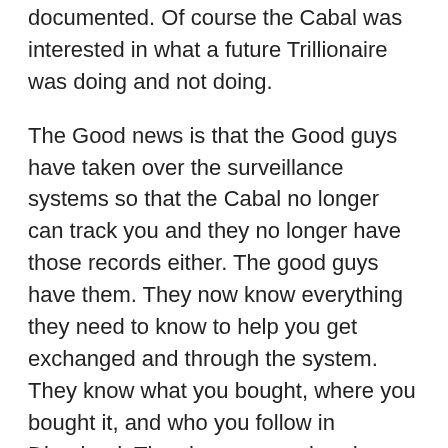documented. Of course the Cabal was interested in what a future Trillionaire was doing and not doing.
The Good news is that the Good guys have taken over the surveillance systems so that the Cabal no longer can track you and they no longer have those records either. The good guys have them. They now know everything they need to know to help you get exchanged and through the system. They know what you bought, where you bought it, and who you follow in Dinarland. They have even already checked you out. This was all thanks to the Cabal, but, now it is a HUGE benefit to the Good guys. So, get over that, and recognize the advantage and benefit that the good guys have now.
Old Plans, Now Discarded